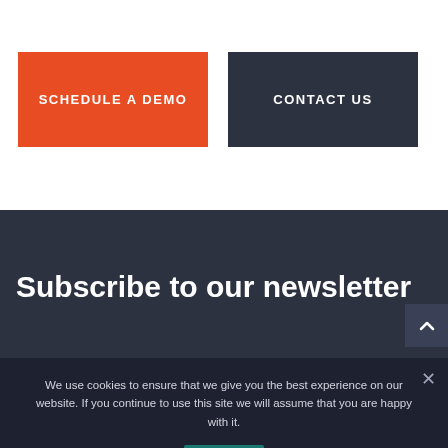SCHEDULE A DEMO
CONTACT US
Subscribe to our newsletter
We use cookies to ensure that we give you the best experience on our website. If you continue to use this site we will assume that you are happy with it.
Ok